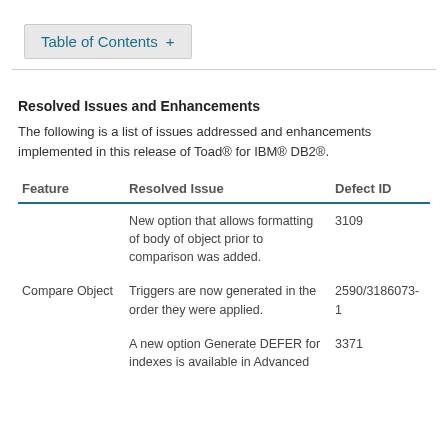Table of Contents +
Resolved Issues and Enhancements
The following is a list of issues addressed and enhancements implemented in this release of Toad® for IBM® DB2®.
| Feature | Resolved Issue | Defect ID |
| --- | --- | --- |
|  | New option that allows formatting of body of object prior to comparison was added. | 3109 |
| Compare Object | Triggers are now generated in the order they were applied. | 2590/3186073-1 |
|  | A new option Generate DEFER for indexes is available in Advanced | 3371 |